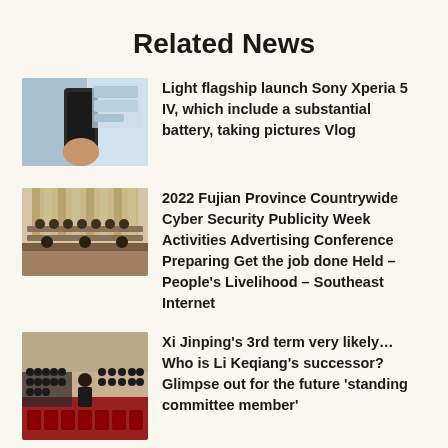Related News
[Figure (photo): Hand holding a Sony Xperia 5 IV smartphone, store display in background]
Light flagship launch Sony Xperia 5 IV, which include a substantial battery, taking pictures Vlog
[Figure (photo): Conference room with people seated at long tables, Cyber Security publicity event]
2022 Fujian Province Countrywide Cyber Security Publicity Week Activities Advertising Conference Preparing Get the job done Held – People's Livelihood – Southeast Internet
[Figure (photo): Xi Jinping with officials in a large formal hall with red decor]
Xi Jinping's 3rd term very likely… Who is Li Keqiang's successor? Glimpse out for the future 'standing committee member'